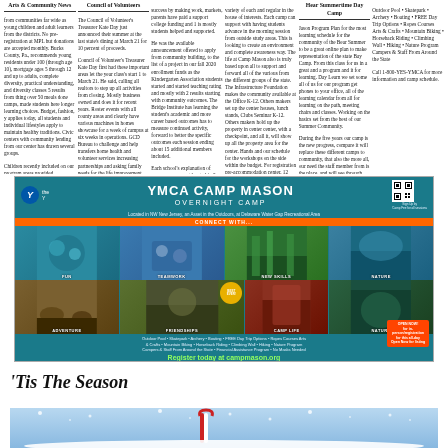Newspaper columns with multiple articles about summer camps and community activities
[Figure (photo): YMCA Camp Mason advertisement with overnight camp photos showing swimming, teamwork, adventure, and nature activities]
YMCA CAMP MASON Overnight Camp - Register today at campmason.org
‘Tis The Season
[Figure (photo): Winter holiday scene with snow]